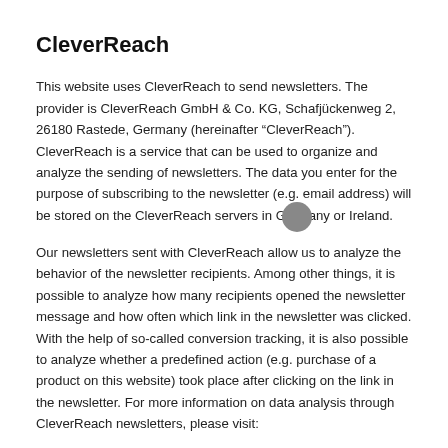CleverReach
This website uses CleverReach to send newsletters. The provider is CleverReach GmbH & Co. KG, Schafjückenweg 2, 26180 Rastede, Germany (hereinafter "CleverReach"). CleverReach is a service that can be used to organize and analyze the sending of newsletters. The data you enter for the purpose of subscribing to the newsletter (e.g. email address) will be stored on the CleverReach servers in Germany or Ireland.
Our newsletters sent with CleverReach allow us to analyze the behavior of the newsletter recipients. Among other things, it is possible to analyze how many recipients opened the newsletter message and how often which link in the newsletter was clicked. With the help of so-called conversion tracking, it is also possible to analyze whether a predefined action (e.g. purchase of a product on this website) took place after clicking on the link in the newsletter. For more information on data analysis through CleverReach newsletters, please visit: